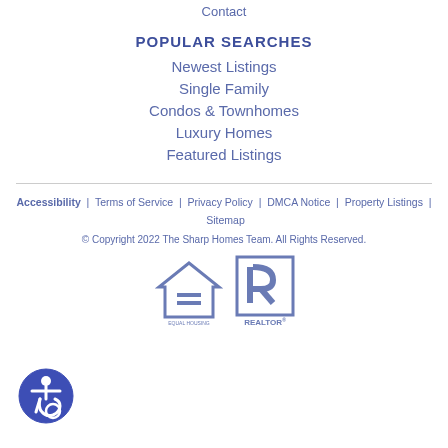Contact
POPULAR SEARCHES
Newest Listings
Single Family
Condos & Townhomes
Luxury Homes
Featured Listings
Accessibility  |  Terms of Service  |  Privacy Policy  |  DMCA Notice  |  Property Listings  |  Sitemap
© Copyright 2022 The Sharp Homes Team. All Rights Reserved.
[Figure (logo): Equal Housing Opportunity logo and REALTOR logo side by side]
[Figure (logo): Accessibility icon - blue circle with wheelchair user symbol]